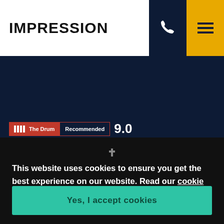IMPRESSION
[Figure (logo): The Drum Recommended 9.0 badge]
[Figure (logo): Meta Business Partner badge]
[Figure (logo): Microsoft Advertising 2022 Select Partner badge]
[Figure (logo): Google Partner Premier 2022 badge]
[Figure (logo): Cyber Essentials badge]
[Figure (logo): The Drum recommended badge (second instance)]
This website uses cookies to ensure you get the best experience on our website. Read our cookie policy.
Yes, I accept cookies